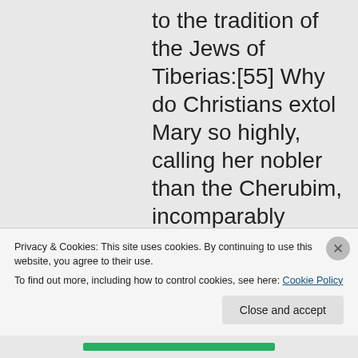to the tradition of the Jews of Tiberias:[55] Why do Christians extol Mary so highly, calling her nobler than the Cherubim, incomparably greater than the Seraphim, raised above the heavens, purer than the very rays of the
Privacy & Cookies: This site uses cookies. By continuing to use this website, you agree to their use.
To find out more, including how to control cookies, see here: Cookie Policy